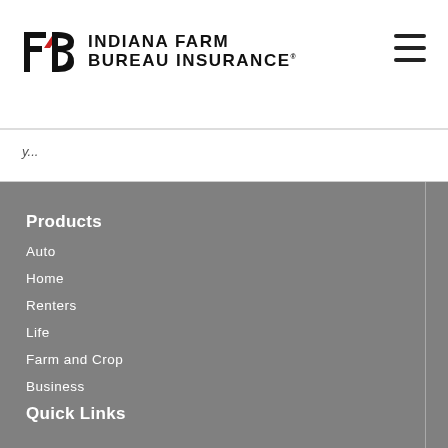[Figure (logo): Indiana Farm Bureau Insurance logo with stylized F and B letters in black and red, followed by bold uppercase text INDIANA FARM BUREAU INSURANCE]
...
Products
Auto
Home
Renters
Life
Farm and Crop
Business
Quick Links